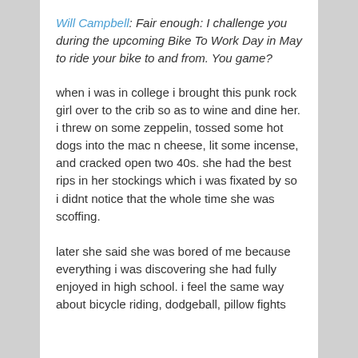Will Campbell: Fair enough: I challenge you during the upcoming Bike To Work Day in May to ride your bike to and from. You game?
when i was in college i brought this punk rock girl over to the crib so as to wine and dine her. i threw on some zeppelin, tossed some hot dogs into the mac n cheese, lit some incense, and cracked open two 40s. she had the best rips in her stockings which i was fixated by so i didnt notice that the whole time she was scoffing.
later she said she was bored of me because everything i was discovering she had fully enjoyed in high school. i feel the same way about bicycle riding, dodgeball, pillow fights